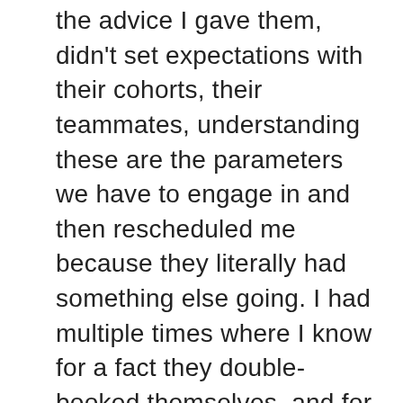the advice I gave them, didn't set expectations with their cohorts, their teammates, understanding these are the parameters we have to engage in and then rescheduled me because they literally had something else going. I had multiple times where I know for a fact they double-booked themselves, and for some reason I was the one that got rescheduled. It sounds stupid, I'm going to sound really arrogant when I say this Mike. I'm a C-level. I know when I get a C-level on the phone, I don't reschedule them. Why are they rescheduling me? Anyway, that was my, I'm done venting. That was my saga...how I got there.